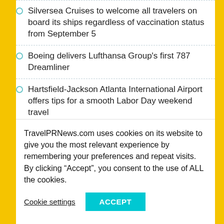Silversea Cruises to welcome all travelers on board its ships regardless of vaccination status from September 5
Boeing delivers Lufthansa Group's first 787 Dreamliner
Hartsfield-Jackson Atlanta International Airport offers tips for a smooth Labor Day weekend travel
Air Canada releases its annual corporate sustainability report
Swoop expands services to Cuba with non-stop ...
TravelPRNews.com uses cookies on its website to give you the most relevant experience by remembering your preferences and repeat visits. By clicking “Accept”, you consent to the use of ALL the cookies.
Cookie settings | ACCEPT